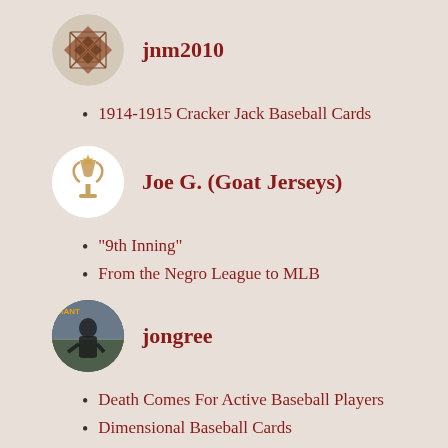jnm2010
1914-1915 Cracker Jack Baseball Cards
Joe G. (Goat Jerseys)
“9th Inning”
From the Negro League to MLB
jongree
Death Comes For Active Baseball Players
Dimensional Baseball Cards
Jeremy_IP_TTM